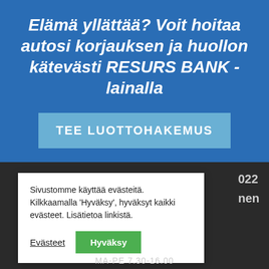Elämä yllättää? Voit hoitaa autosi korjauksen ja huollon kätevästi RESURS BANK -lainalla
TEE LUOTTOHAKEMUS
022
nen
Sivustomme käyttää evästeitä. Kilkkaamalla 'Hyväksy', hyväksyt kaikki evästeet. Lisätietoa linkistä.
Evästeet
Hyväksy
MA-PE 7.30-16.00